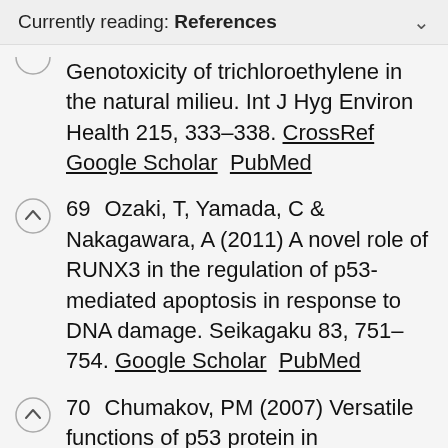Currently reading: References
Genotoxicity of trichloroethylene in the natural milieu. Int J Hyg Environ Health 215, 333–338. CrossRef Google Scholar PubMed
69 Ozaki, T, Yamada, C & Nakagawara, A (2011) A novel role of RUNX3 in the regulation of p53-mediated apoptosis in response to DNA damage. Seikagaku 83, 751–754. Google Scholar PubMed
70 Chumakov, PM (2007) Versatile functions of p53 protein in multicellular organisms. Biochemistry (Moscow) 72, 1399–